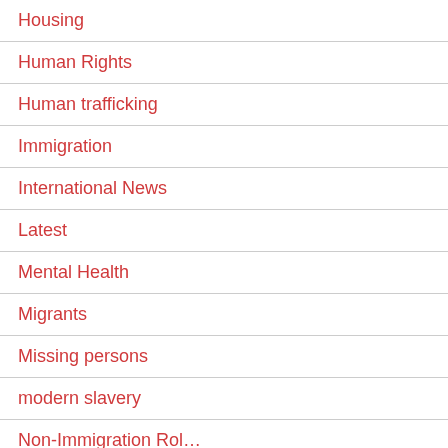Housing
Human Rights
Human trafficking
Immigration
International News
Latest
Mental Health
Migrants
Missing persons
modern slavery
Non-Immigration Rol…